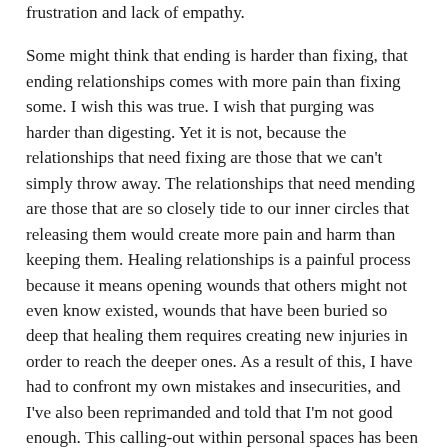frustration and lack of empathy.
Some might think that ending is harder than fixing, that ending relationships comes with more pain than fixing some. I wish this was true. I wish that purging was harder than digesting. Yet it is not, because the relationships that need fixing are those that we can't simply throw away. The relationships that need mending are those that are so closely tide to our inner circles that releasing them would create more pain and harm than keeping them. Healing relationships is a painful process because it means opening wounds that others might not even know existed, wounds that have been buried so deep that healing them requires creating new injuries in order to reach the deeper ones. As a result of this, I have had to confront my own mistakes and insecurities, and I've also been reprimanded and told that I'm not good enough. This calling-out within personal spaces has been received with attacks on myself, and a lot of defensiveness. And yet I feel more loving than I have in a long time because the truth is out. At this point, I can only hope to continue the conversations, to show that I am coming from a place of love and respect. And yes, I'm also